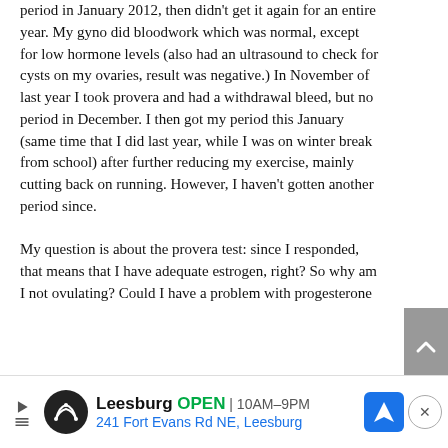period in January 2012, then didn't get it again for an entire year. My gyno did bloodwork which was normal, except for low hormone levels (also had an ultrasound to check for cysts on my ovaries, result was negative.) In November of last year I took provera and had a withdrawal bleed, but no period in December. I then got my period this January (same time that I did last year, while I was on winter break from school) after further reducing my exercise, mainly cutting back on running. However, I haven't gotten another period since.

My question is about the provera test: since I responded, that means that I have adequate estrogen, right? So why am I not ovulating? Could I have a problem with progesterone
[Figure (other): Gray scroll-to-top button with upward chevron arrow on the right side of the page]
[Figure (other): Advertisement bar at bottom: Leesburg store ad with logo, OPEN 10AM-9PM, 241 Fort Evans Rd NE Leesburg, navigation icon, and close button]